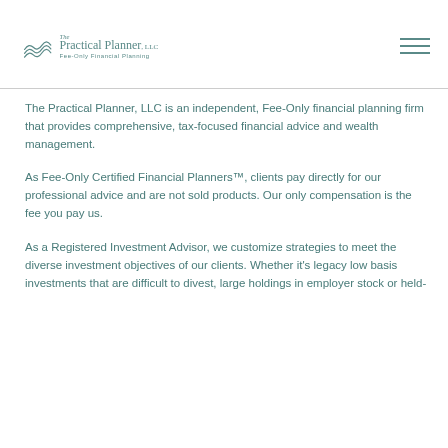[Figure (logo): The Practical Planner, LLC logo with wave graphic and text 'Fee-Only Financial Planning']
The Practical Planner, LLC is an independent, Fee-Only financial planning firm that provides comprehensive, tax-focused financial advice and wealth management.
As Fee-Only Certified Financial Planners™, clients pay directly for our professional advice and are not sold products. Our only compensation is the fee you pay us.
As a Registered Investment Advisor, we customize strategies to meet the diverse investment objectives of our clients. Whether it's legacy low basis investments that are difficult to divest, large holdings in employer stock or held-